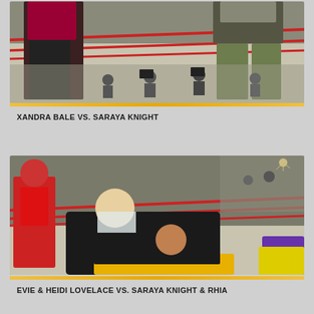[Figure (photo): Wrestling match photo: Xandra Bale vs. Saraya Knight in a wrestling ring, with photographers in the background audience]
XANDRA BALE VS. SARAYA KNIGHT
[Figure (photo): Wrestling match photo: Evie & Heidi Lovelace vs. Saraya Knight & Rhia — multiple wrestlers grappling on the mat in a wrestling ring, woman with red hair visible in corner]
EVIE & HEIDI LOVELACE VS. SARAYA KNIGHT & RHIA